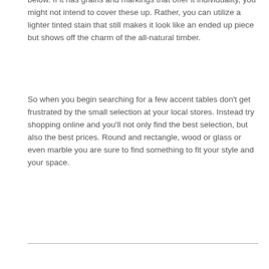below. If it has grains and markings that offer it individuality, you might not intend to cover these up. Rather, you can utilize a lighter tinted stain that still makes it look like an ended up piece but shows off the charm of the all-natural timber.
So when you begin searching for a few accent tables don't get frustrated by the small selection at your local stores. Instead try shopping online and you'll not only find the best selection, but also the best prices. Round and rectangle, wood or glass or even marble you are sure to find something to fit your style and your space.